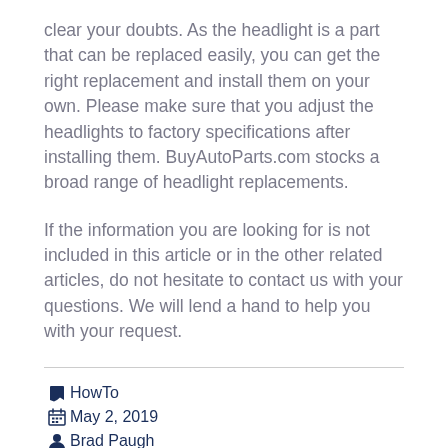clear your doubts. As the headlight is a part that can be replaced easily, you can get the right replacement and install them on your own. Please make sure that you adjust the headlights to factory specifications after installing them. BuyAutoParts.com stocks a broad range of headlight replacements.
If the information you are looking for is not included in this article or in the other related articles, do not hesitate to contact us with your questions. We will lend a hand to help you with your request.
HowTo
May 2, 2019
Brad Paugh
No Comments
No tags